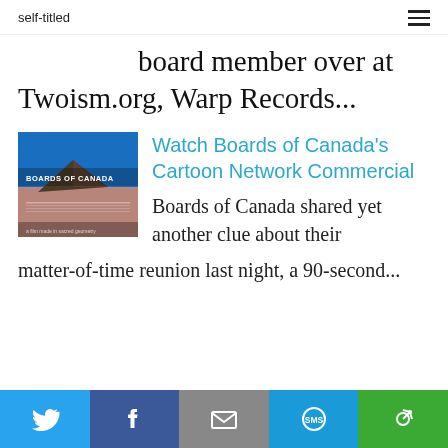self-titled
board member over at Twoism.org, Warp Records...
[Figure (photo): Boards of Canada album artwork thumbnail showing desert landscape with blue sky and text 'BOARDS OF CANADA']
Watch Boards of Canada's Cartoon Network Commercial
Boards of Canada shared yet another clue about their matter-of-time reunion last night, a 90-second...